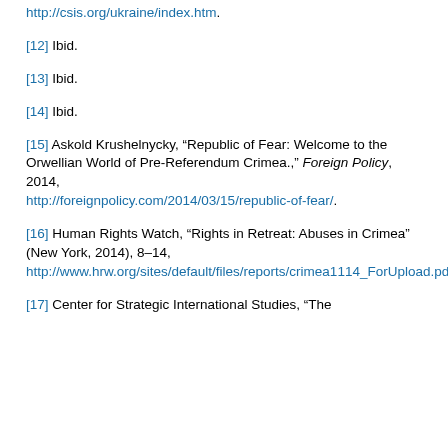http://csis.org/ukraine/index.htm.
[12] Ibid.
[13] Ibid.
[14] Ibid.
[15] Askold Krushelnycky, “Republic of Fear: Welcome to the Orwellian World of Pre-Referendum Crimea.,” Foreign Policy, 2014, http://foreignpolicy.com/2014/03/15/republic-of-fear/.
[16] Human Rights Watch, “Rights in Retreat: Abuses in Crimea” (New York, 2014), 8–14, http://www.hrw.org/sites/default/files/reports/crimea1114_ForUpload.pdf.
[17] Center for Strategic International Studies, “The